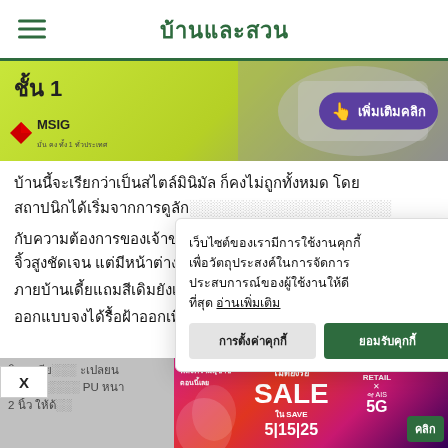บ้านและสวน
[Figure (photo): MSIG insurance advertisement banner with car mirror image and green gradient background, button เพิ่มเติมคลิก]
บ้านนี้จะเรียกว่าเป็นสไตล์มินิมัล ก็คงไม่ถูกทั้งหมด โดย สถาปนิกได้เริ่มจากการดูลัก... กับความต้องการของเจ้าข... จิ้วสูงชัดเจน แต่มีหน้าต่าง... ภายบ้านเดี้ยแถมสีเดิมยังเ... ออกแบบจงได้รื้อฝ้าออกเพิ่...
เว็บไซต์ของเรามีการใช้งานคุกกี้เพื่อวัตถุประสงค์ในการจัดการประสบการณ์ของผู้ใช้งานให้ดีที่สุด อ่านเพิ่มเติม
การตั้งค่าคุกกี้
ยอมรับคุกกี้
X
ติดระเบีย... ะเปลยน หลังคาเ... PU หนา 2 นิ้ว ให้ด้...
[Figure (photo): AIS 5G x Central Retail SALE SAVE 5|15|25 advertisement banner in pink/red gradient]